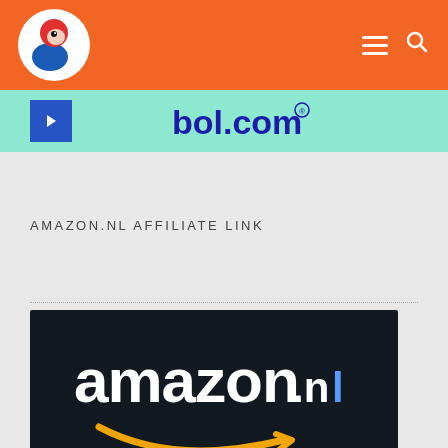[Figure (logo): Website header with orange background, circular parrot/bird logo on left, hamburger menu icon and search icon on right]
[Figure (logo): Bol.com promotional banner with mint/teal background, blue arrow button on left and bol.com logo text]
AMAZON.NL AFFILIATE LINK
[Figure (logo): Amazon.nl logo on dark/black background showing 'amazon.nl' text in white with orange smile arrow beneath]